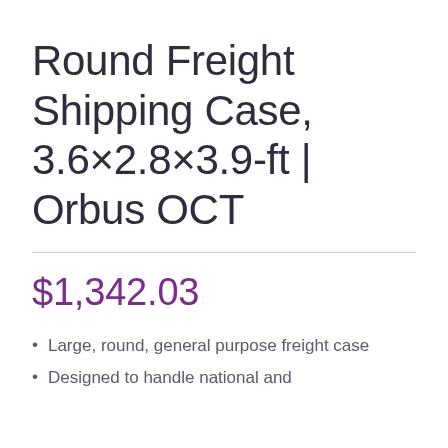Round Freight Shipping Case, 3.6×2.8×3.9-ft | Orbus OCT
$1,342.03
Large, round, general purpose freight case
Designed to handle national and